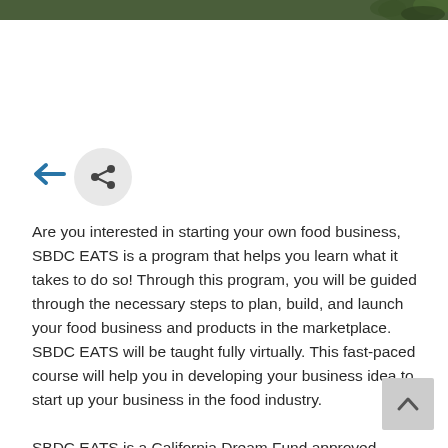[Figure (illustration): Dark olive green header bar with decorative plant/leaf illustration on the right side]
[Figure (illustration): Blue back arrow icon and a circular share icon with three connected dots]
Are you interested in starting your own food business, SBDC EATS is a program that helps you learn what it takes to do so! Through this program, you will be guided through the necessary steps to plan, build, and launch your food business and products in the marketplace. SBDC EATS will be taught fully virtually. This fast-paced course will help you in developing your business idea to start up your business in the food industry.
SBDC EATS is a California Dream Fund approved program